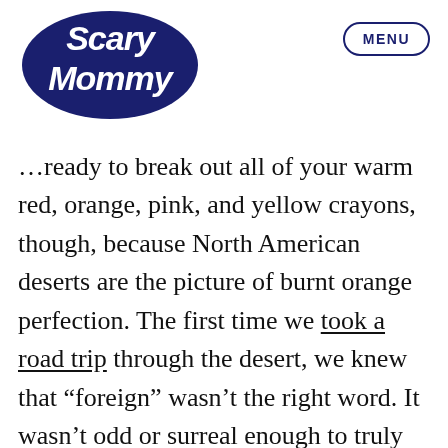[Figure (logo): Scary Mommy logo in dark navy blue cursive/brush lettering]
MENU
…ready to break out all of your warm red, orange, pink, and yellow crayons, though, because North American deserts are the picture of burnt orange perfection. The first time we took a road trip through the desert, we knew that “foreign” wasn’t the right word. It wasn’t odd or surreal enough to truly describe seeing the desert landscape for the first time. It felt utterly alien, like walking on the surface of Mars. It took our breath away… and not just because of the heat. Spending time daydreaming about the desert, writing about